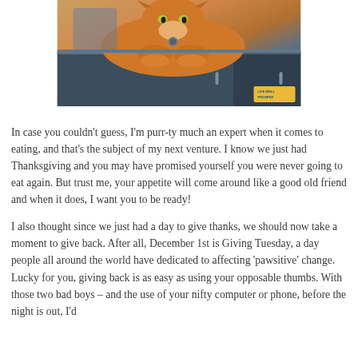[Figure (photo): An orange tabby cat lying on top of a dark cabinet or shelf unit, looking directly at the camera. There is a small 'Live Well Prosper' branded logo/sticker visible in the bottom right of the image.]
In case you couldn't guess, I'm purr-ty much an expert when it comes to eating, and that's the subject of my next venture. I know we just had Thanksgiving and you may have promised yourself you were never going to eat again. But trust me, your appetite will come around like a good old friend and when it does, I want you to be ready!
I also thought since we just had a day to give thanks, we should now take a moment to give back. After all, December 1st is Giving Tuesday, a day people all around the world have dedicated to affecting 'pawsitive' change. Lucky for you, giving back is as easy as using your opposable thumbs. With those two bad boys – and the use of your nifty computer or phone, before the night is out, I'd